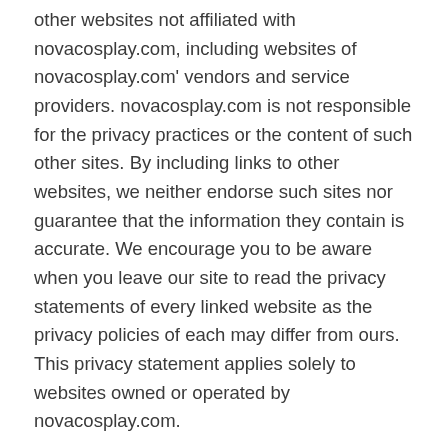other websites not affiliated with novacosplay.com, including websites of novacosplay.com' vendors and service providers. novacosplay.com is not responsible for the privacy practices or the content of such other sites. By including links to other websites, we neither endorse such sites nor guarantee that the information they contain is accurate. We encourage you to be aware when you leave our site to read the privacy statements of every linked website as the privacy policies of each may differ from ours. This privacy statement applies solely to websites owned or operated by novacosplay.com.
Monitoring
novacosplay.com is under no obligation to monitor